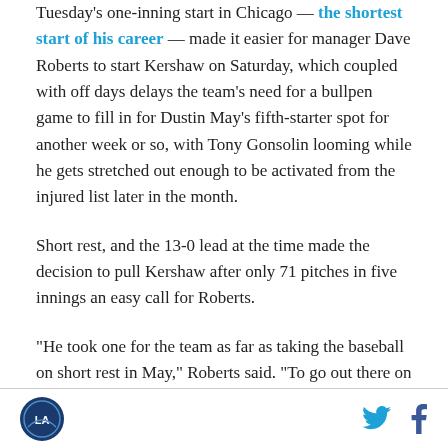Tuesday's one-inning start in Chicago — the shortest start of his career — made it easier for manager Dave Roberts to start Kershaw on Saturday, which coupled with off days delays the team's need for a bullpen game to fill in for Dustin May's fifth-starter spot for another week or so, with Tony Gonsolin looming while he gets stretched out enough to be activated from the injured list later in the month.
Short rest, and the 13-0 lead at the time made the decision to pull Kershaw after only 71 pitches in five innings an easy call for Roberts.
“He took one for the team as far as taking the baseball on short rest in May,” Roberts said. “To go out there on
Logo and social media icons